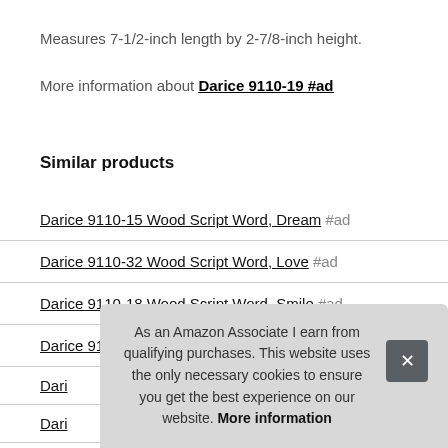Measures 7-1/2-inch length by 2-7/8-inch height.
More information about Darice 9110-19 #ad
Similar products
Darice 9110-15 Wood Script Word, Dream #ad
Darice 9110-32 Wood Script Word, Love #ad
Darice 9110-18 Wood Script Word, Smile #ad
Darice 9110-31 Wood Script Word, Family #ad
Dari…
Dari…
Dari…
Darice 9110-28 Wood Script Word, Dream #ad
As an Amazon Associate I earn from qualifying purchases. This website uses the only necessary cookies to ensure you get the best experience on our website. More information